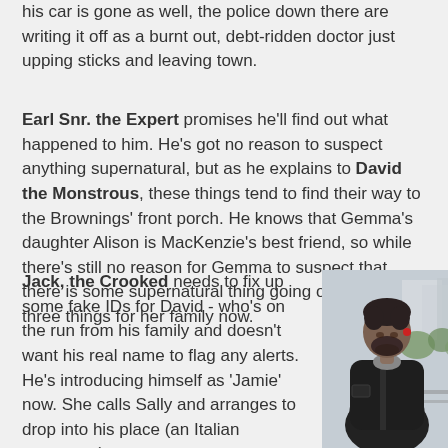his car is gone as well, the police down there are writing it off as a burnt out, debt-ridden doctor just upping sticks and leaving town.
Earl Snr. the Expert promises he'll find out what happened to him. He's got no reason to suspect anything supernatural, but as he explains to David the Monstrous, these things tend to find their way to the Brownings' front porch. He knows that Gemma's daughter Alison is MacKenzie's best friend, so while there's still no reason for Gemma to suspect that there is some supernatural thing going on, that's three things for her family now.
Jack, the Crooked needs to fix up some fake IDs for David - who's on the run from his family and doesn't want his real name to flag any alerts. He's introducing himself as 'Jamie' now. She calls Sally and arranges to drop into his place (an Italian restaurant)
[Figure (photo): A man with dark hair and beard, wearing a black leather jacket, looking downward. He is outdoors with houses and trees visible in the background.]